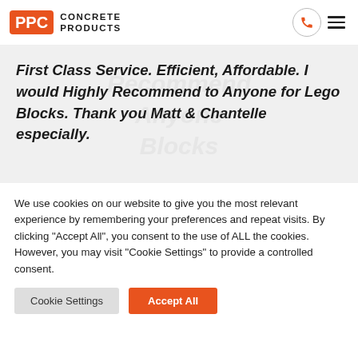[Figure (logo): PPC Concrete Products logo with orange brick-style PPC text box and black CONCRETE PRODUCTS text]
First Class Service. Efficient, Affordable. I would Highly Recommend to Anyone for Lego Blocks. Thank you Matt & Chantelle especially.
We use cookies on our website to give you the most relevant experience by remembering your preferences and repeat visits. By clicking "Accept All", you consent to the use of ALL the cookies. However, you may visit "Cookie Settings" to provide a controlled consent.
Cookie Settings
Accept All